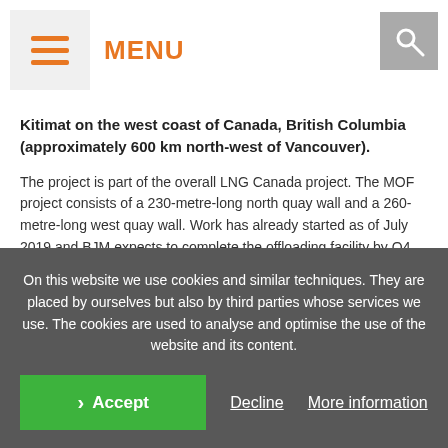MENU
Kitimat on the west coast of Canada, British Columbia (approximately 600 km north-west of Vancouver).
The project is part of the overall LNG Canada project. The MOF project consists of a 230-metre-long north quay wall and a 260-metre-long west quay wall. Work has already started as of July 2019 and BJM expects to complete the offloading facility by Q4 2020.
Last year the BJM joint venture received the full order to build
On this website we use cookies and similar techniques. They are placed by ourselves but also by third parties whose services we use. The cookies are used to analyse and optimise the use of the website and its content.